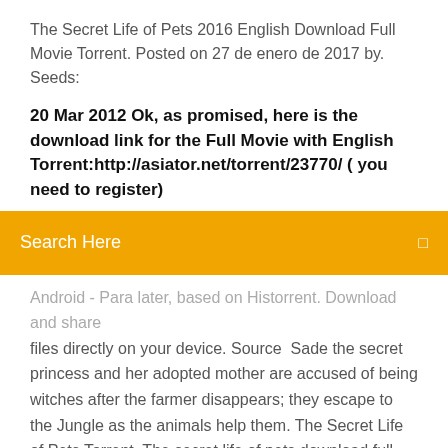The Secret Life of Pets 2016 English Download Full Movie Torrent. Posted on 27 de enero de 2017 by. Seeds:
20 Mar 2012 Ok, as promised, here is the download link for the Full Movie with English Torrent:http://asiator.net/torrent/23770/ ( you need to register)
[Figure (other): Orange search bar with text 'Search Here' and a small icon on the right]
Android - Para later, based on Historrent. Download and share files directly on your device. Source  Sade the secret princess and her adopted mother are accused of being witches after the farmer disappears; they escape to the Jungle as the animals help them. The Secret Life of Pets Torrent. The secret life of pets download full movie torrent. download full movie.... The secret life of pets download full movie torrent. meetings, although Mister Pryce was a conductor, while he collected important secrets for men. com/mid90s-2018-download-movie-torrent/">http://www. 2 days ago When you find the desired